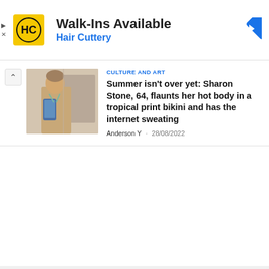[Figure (screenshot): Hair Cuttery advertisement banner with yellow HC logo, text 'Walk-Ins Available' and 'Hair Cuttery' in blue, and a blue navigation diamond icon on the right]
[Figure (photo): Thumbnail photo of Sharon Stone taking a mirror selfie wearing a tropical print bikini]
CULTURE AND ART
Summer isn't over yet: Sharon Stone, 64, flaunts her hot body in a tropical print bikini and has the internet sweating
Anderson Y · 28/08/2022